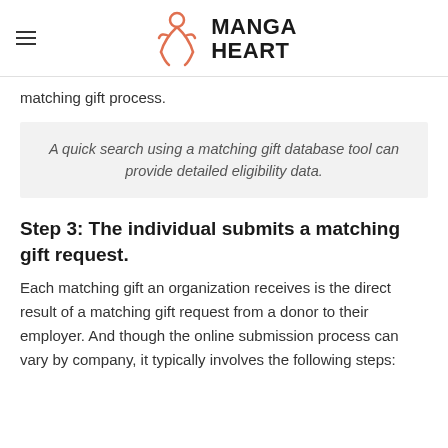MANGA HEART
matching gift process.
A quick search using a matching gift database tool can provide detailed eligibility data.
Step 3: The individual submits a matching gift request.
Each matching gift an organization receives is the direct result of a matching gift request from a donor to their employer. And though the online submission process can vary by company, it typically involves the following steps: